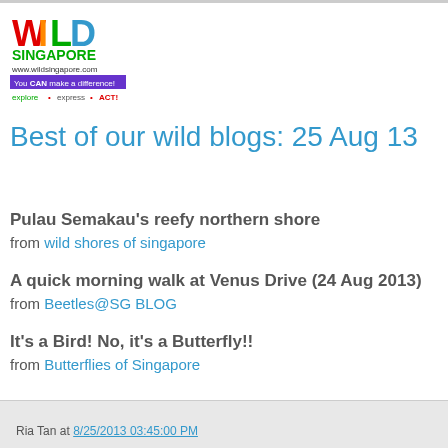[Figure (logo): Wild Singapore logo with rainbow text WILD, SINGAPORE in green, www.wildsingapore.com URL, purple banner 'You CAN make a difference!', and text 'explore • express • ACT!']
Best of our wild blogs: 25 Aug 13
Pulau Semakau's reefy northern shore
from wild shores of singapore
A quick morning walk at Venus Drive (24 Aug 2013)
from Beetles@SG BLOG
It's a Bird! No, it's a Butterfly!!
from Butterflies of Singapore
Ria Tan at 8/25/2013 03:45:00 PM